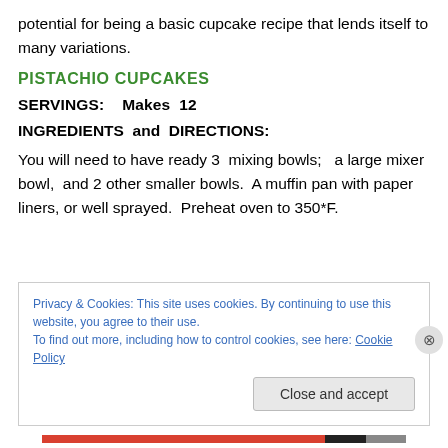potential for being a basic cupcake recipe that lends itself to many variations.
PISTACHIO CUPCAKES
SERVINGS:    Makes  12
INGREDIENTS  and  DIRECTIONS:
You will need to have ready 3  mixing bowls;   a large mixer bowl,  and 2 other smaller bowls.  A muffin pan with paper liners, or well sprayed.  Preheat oven to 350*F.
Privacy & Cookies: This site uses cookies. By continuing to use this website, you agree to their use.
To find out more, including how to control cookies, see here: Cookie Policy
Close and accept